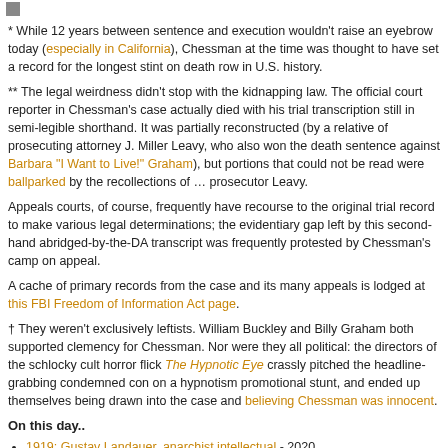* While 12 years between sentence and execution wouldn't raise an eyebrow today (especially in California), Chessman at the time was thought to have set a record for the longest stint on death row in U.S. history.
** The legal weirdness didn't stop with the kidnapping law. The official court reporter in Chessman's case actually died with his trial transcription still in semi-legible shorthand. It was partially reconstructed (by a relative of prosecuting attorney J. Miller Leavy, who also won the death sentence against Barbara "I Want to Live!" Graham), but portions that could not be read were ballparked by the recollections of … prosecutor Leavy.
Appeals courts, of course, frequently have recourse to the original trial record to make various legal determinations; the evidentiary gap left by this second-hand abridged-by-the-DA transcript was frequently protested by Chessman's camp on appeal.
A cache of primary records from the case and its many appeals is lodged at this FBI Freedom of Information Act page.
† They weren't exclusively leftists. William Buckley and Billy Graham both supported clemency for Chessman. Nor were they all political: the directors of the schlocky cult horror flick The Hypnotic Eye crassly pitched the headline-grabbing condemned con on a hypnotism promotional stunt, and ended up themselves being drawn into the case and believing Chessman was innocent.
On this day..
1919: Gustav Landauer, anarchist intellectual - 2020
1230: William de Braose, bold paramour - 2019
Unspecified Year: Vilem, the Forest King - 2018